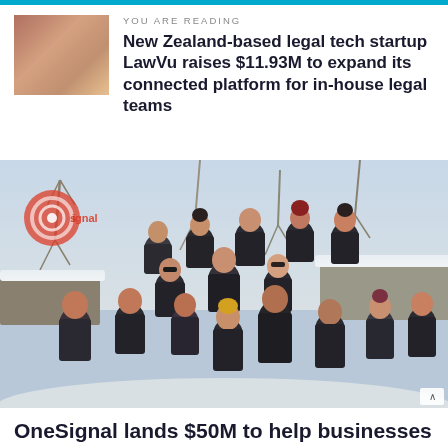YOU ARE READING
New Zealand-based legal tech startup LawVu raises $11.93M to expand its connected platform for in-house legal teams
[Figure (photo): Group photo of approximately 15 people wearing matching dark branded t-shirts, posing outdoors in a snowy winter setting with bare trees and snow-covered rooftops in the background. A red signal/wifi icon watermark is visible in the upper left of the image.]
OneSignal lands $50M to help businesses